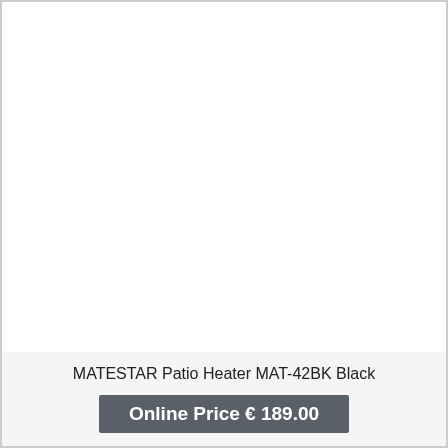[Figure (photo): Product image area — white background with no visible product image rendered]
MATESTAR Patio Heater MAT-42BK Black
Online Price € 189.00